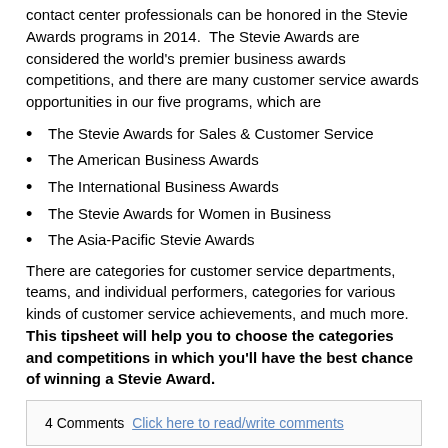contact center professionals can be honored in the Stevie Awards programs in 2014.  The Stevie Awards are considered the world's premier business awards competitions, and there are many customer service awards opportunities in our five programs, which are
The Stevie Awards for Sales & Customer Service
The American Business Awards
The International Business Awards
The Stevie Awards for Women in Business
The Asia-Pacific Stevie Awards
There are categories for customer service departments, teams, and individual performers, categories for various kinds of customer service achievements, and much more.  This tipsheet will help you to choose the categories and competitions in which you'll have the best chance of winning a Stevie Award.
4 Comments  Click here to read/write comments
Tags: customer service awards, business awards, stevie awards,